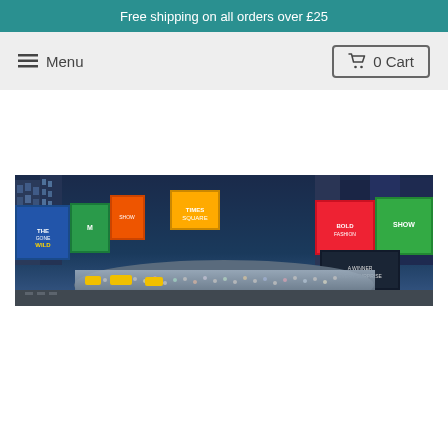Free shipping on all orders over £25
≡ Menu
🛒 0 Cart
[Figure (photo): Panoramic aerial view of Times Square, New York City at dusk, showing large LED billboards, crowds of people, yellow taxis, and tall buildings. Various Broadway show advertisements and brand billboards visible.]